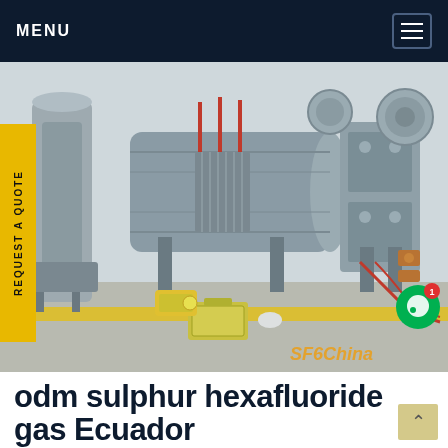MENU
[Figure (photo): Industrial SF6 gas switchgear equipment in a substation, showing large grey cylindrical pipes, electrical components, cables, and testing equipment on the floor. Watermark reads SF6China.]
odm sulphur hexafluoride gas Ecuador